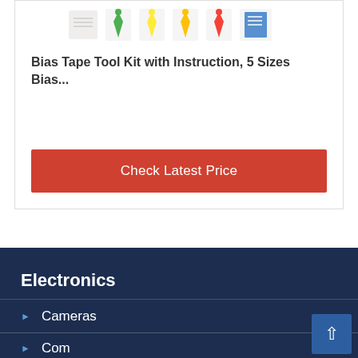[Figure (photo): Product image showing bias tape tool kit with multiple colorful tools/makers in a row]
Bias Tape Tool Kit with Instruction, 5 Sizes Bias...
Check Latest Price
Electronics
Cameras
Computers